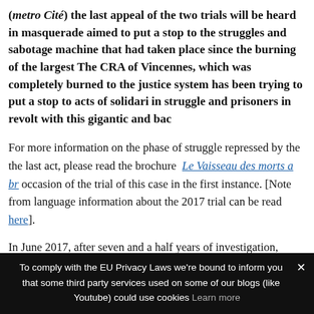(metro Cité) the last appeal of the two trials will be heard in masquerade aimed to put a stop to the struggles and sabotage machine that had taken place since the burning of the largest The CRA of Vincennes, which was completely burned to the justice system has been trying to put a stop to acts of solidarity in struggle and prisoners in revolt with this gigantic and bac
For more information on the phase of struggle repressed by the the last act, please read the brochure Le Vaisseau des morts a b occasion of the trial of this case in the first instance. [Note from language information about the 2017 trial can be read here].
In June 2017, after seven and a half years of investigation, thousands people searched, arrested, watched, listened to, filmed, indicted, them for several months, several under house arrest, kept under than seven years; after pages and pages of a botched investigation
To comply with the EU Privacy Laws we're bound to inform you that some third party services used on some of our blogs (like Youtube) could use cookies Learn more